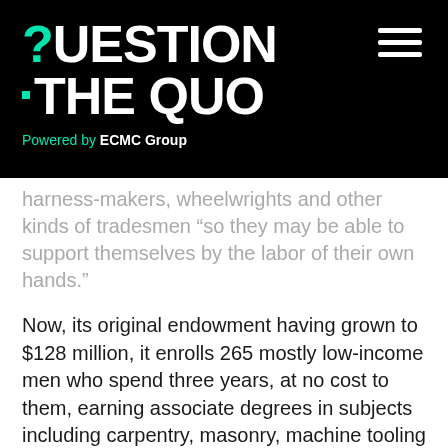?UESTION THE QUO — Powered by ECMC Group
harness-makers, wheelwrights and other kinds of tradesmen “so they may be able to support themselves by the labor of their own hands.”
Now, its original endowment having grown to $128 million, it enrolls 265 mostly low-income men who spend three years, at no cost to them, earning associate degrees in subjects including carpentry, masonry, machine tooling and power plant